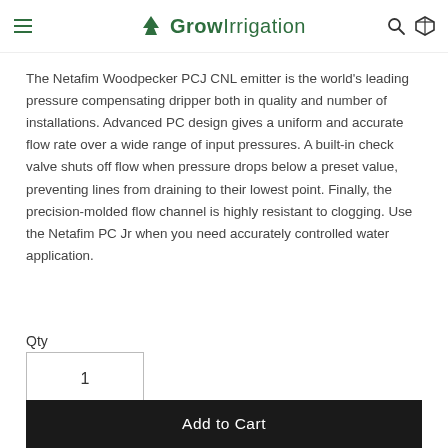GrowIrrigation
WP04-4V delivers a 1.3 L/H (0.34gph) flow rate for input pressures ranging from 10 to 45 PSI (0.7 to 3.1 bar).
The Netafim Woodpecker PCJ CNL emitter is the world's leading pressure compensating dripper both in quality and number of installations. Advanced PC design gives a uniform and accurate flow rate over a wide range of input pressures. A built-in check valve shuts off flow when pressure drops below a preset value, preventing lines from draining to their lowest point. Finally, the precision-molded flow channel is highly resistant to clogging. Use the Netafim PC Jr when you need accurately controlled water application.
Qty
1
Add to Cart